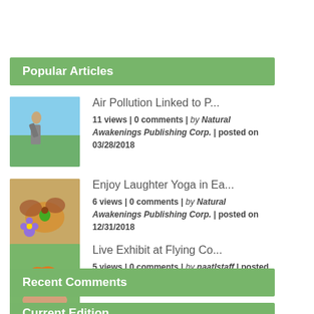Popular Articles
Air Pollution Linked to P... | 11 views | 0 comments | by Natural Awakenings Publishing Corp. | posted on 03/28/2018
Enjoy Laughter Yoga in Ea... | 6 views | 0 comments | by Natural Awakenings Publishing Corp. | posted on 12/31/2018
Live Exhibit at Flying Co... | 5 views | 0 comments | by naatlstaff | posted on 07/01/2013
Recent Comments
Current Edition